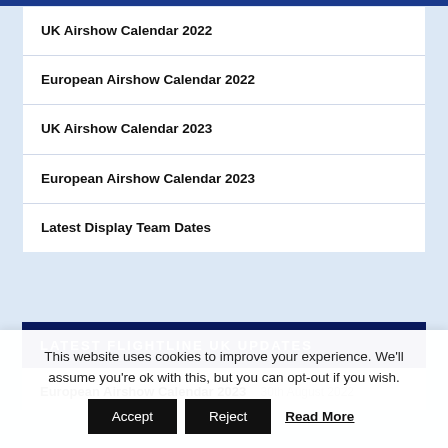UK Airshow Calendar 2022
European Airshow Calendar 2022
UK Airshow Calendar 2023
European Airshow Calendar 2023
Latest Display Team Dates
LATEST FLIGHTLINE UK UPDATES
European Airshow Calendar 2023   30th August 2022
This website uses cookies to improve your experience. We'll assume you're ok with this, but you can opt-out if you wish.